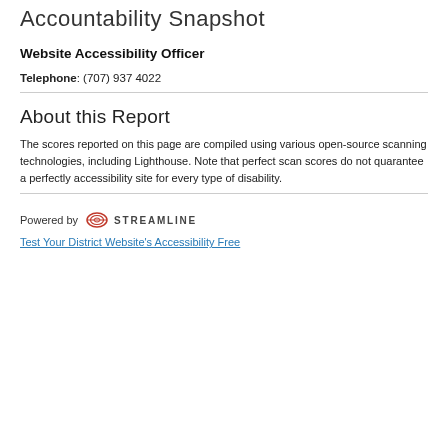Accountability Snapshot
Website Accessibility Officer
Telephone: (707) 937 4022
About this Report
The scores reported on this page are compiled using various open-source scanning technologies, including Lighthouse. Note that perfect scan scores do not quarantee a perfectly accessibility site for every type of disability.
[Figure (logo): Streamline logo with stylized 'D' icon and STREAMLINE text]
Powered by STREAMLINE
Test Your District Website's Accessibility Free